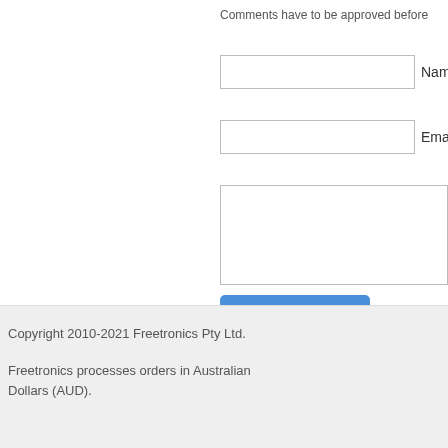Comments have to be approved before
Name *
Email *
[Figure (other): Post comment button (blue rounded rectangle) and Google +1 social button showing count of 3]
Copyright 2010-2021 Freetronics Pty Ltd.

Freetronics processes orders in Australian Dollars (AUD).